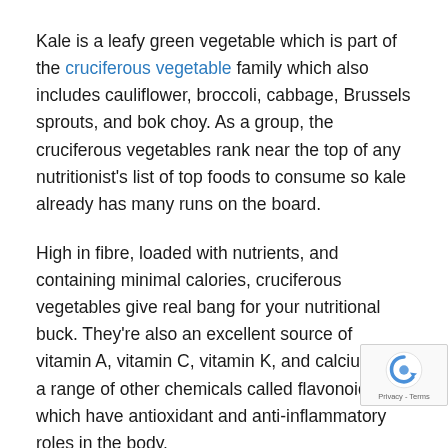Kale is a leafy green vegetable which is part of the cruciferous vegetable family which also includes cauliflower, broccoli, cabbage, Brussels sprouts, and bok choy. As a group, the cruciferous vegetables rank near the top of any nutritionist's list of top foods to consume so kale already has many runs on the board.
High in fibre, loaded with nutrients, and containing minimal calories, cruciferous vegetables give real bang for your nutritional buck. They're also an excellent source of vitamin A, vitamin C, vitamin K, and calcium and a range of other chemicals called flavonoids which have antioxidant and anti-inflammatory roles in the body.
And the news gets even better because of the high amounts of potent cancer-protecting and immune-enhancing chemicals which includes sulforaphane and
[Figure (other): reCAPTCHA badge with privacy and terms text in bottom right corner]